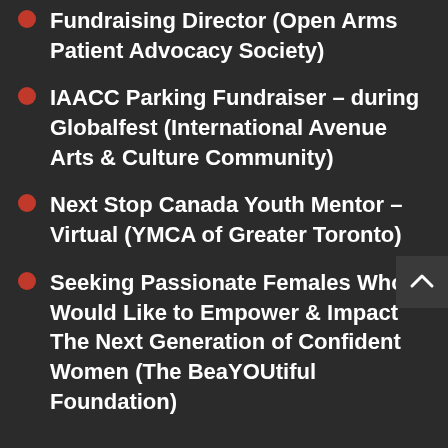Fundraising Director (Open Arms Patient Advocacy Society)
IAACC Parking Fundraiser – during Globalfest (International Avenue Arts & Culture Community)
Next Stop Canada Youth Mentor – Virtual (YMCA of Greater Toronto)
Seeking Passionate Females Who Would Like to Empower & Impact The Next Generation of Confident Women (The BeaYOUtiful Foundation)